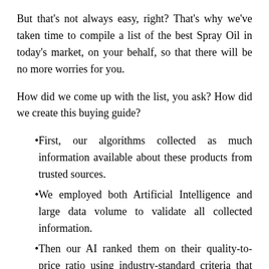But that's not always easy, right? That's why we've taken time to compile a list of the best Spray Oil in today's market, on your behalf, so that there will be no more worries for you.
How did we come up with the list, you ask? How did we create this buying guide?
First, our algorithms collected as much information available about these products from trusted sources.
We employed both Artificial Intelligence and large data volume to validate all collected information.
Then our AI ranked them on their quality-to-price ratio using industry-standard criteria that let us pick the best Spray Oil currently on the market!